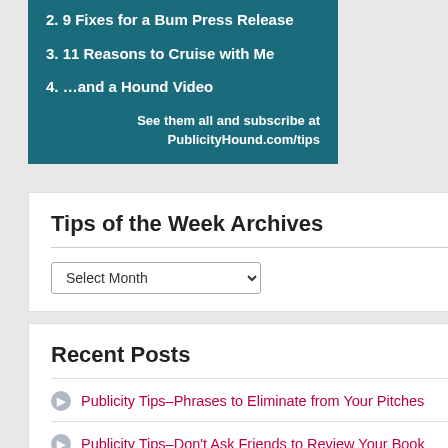2. 9 Fixes for a Bum Press Release
3. 11 Reasons to Cruise with Me
4. …and a Hound Video
See them all and subscribe at PublicityHound.com/tips
Tips of the Week Archives
Recent Posts
Publicity Tips–Phrases to Eliminate from Your Pitches
Publicity Tips–Don't Ask Friends to Review Your Book
Publicity Tips–Stop Using This Word in Interviews